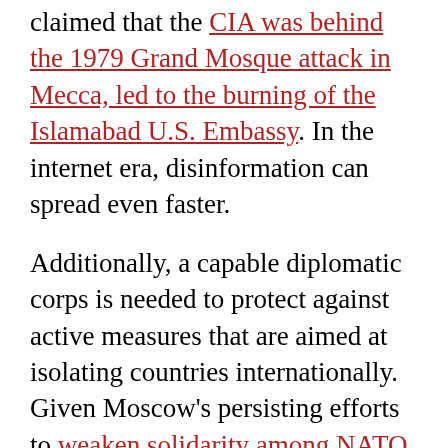claimed that the CIA was behind the 1979 Grand Mosque attack in Mecca, led to the burning of the Islamabad U.S. Embassy. In the internet era, disinformation can spread even faster.
Additionally, a capable diplomatic corps is needed to protect against active measures that are aimed at isolating countries internationally. Given Moscow's persisting efforts to weaken solidarity among NATO allies and European Union member states, it would be shortsighted to undercut those diplomats whose regional and public diplomacy expertise are best equipped to